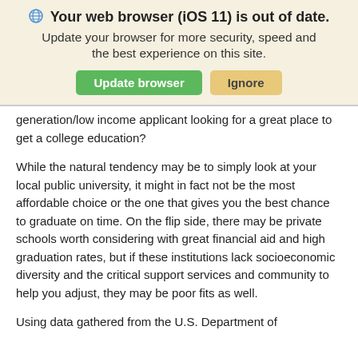[Figure (screenshot): Browser update banner with globe icon, bold title 'Your web browser (iOS 11) is out of date.', subtitle text, and two buttons: 'Update browser' (green) and 'Ignore' (tan/yellow)]
generation/low income applicant looking for a great place to get a college education?
While the natural tendency may be to simply look at your local public university, it might in fact not be the most affordable choice or the one that gives you the best chance to graduate on time. On the flip side, there may be private schools worth considering with great financial aid and high graduation rates, but if these institutions lack socioeconomic diversity and the critical support services and community to help you adjust, they may be poor fits as well.
Using data gathered from the U.S. Department of